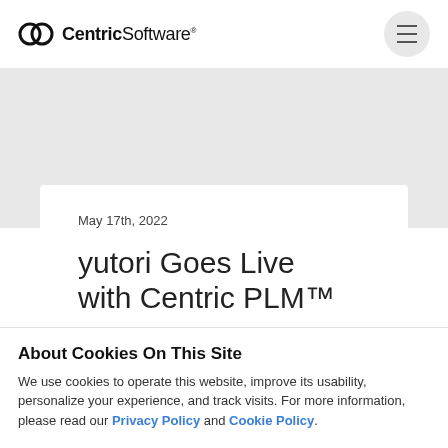CentricSoftware
May 17th, 2022
yutori Goes Live with Centric PLM™
About Cookies On This Site
We use cookies to operate this website, improve its usability, personalize your experience, and track visits. For more information, please read our Privacy Policy and Cookie Policy.